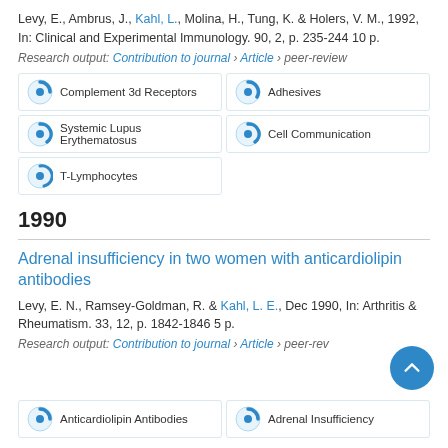Levy, E., Ambrus, J., Kahl, L., Molina, H., Tung, K. & Holers, V. M., 1992, In: Clinical and Experimental Immunology. 90, 2, p. 235-244 10 p.
Research output: Contribution to journal › Article › peer-review
Complement 3d Receptors
Adhesives
Systemic Lupus Erythematosus
Cell Communication
T-Lymphocytes
1990
Adrenal insufficiency in two women with anticardiolipin antibodies
Levy, E. N., Ramsey-Goldman, R. & Kahl, L. E., Dec 1990, In: Arthritis & Rheumatism. 33, 12, p. 1842-1846 5 p.
Research output: Contribution to journal › Article › peer-review
Anticardiolipin Antibodies
Adrenal Insufficiency